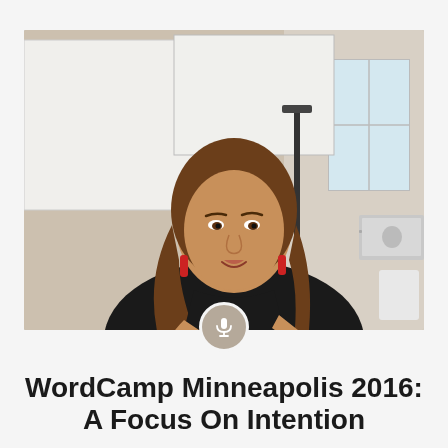[Figure (photo): A woman with long brown hair and red earrings wearing a black top, holding a microphone and speaking at an event. A microphone stand, projection screen, window, and laptop are visible in the background. A circular microphone icon button overlaps the bottom center of the photo.]
WordCamp Minneapolis 2016: A Focus On Intention
MAY 2, 2016 • BRIAN BOURN